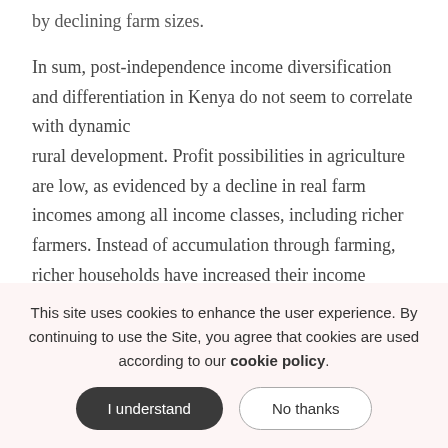by declining farm sizes.
In sum, post-independence income diversification and differentiation in Kenya do not seem to correlate with dynamic rural development. Profit possibilities in agriculture are low, as evidenced by a decline in real farm incomes among all income classes, including richer farmers. Instead of accumulation through farming, richer households have increased their income diversification towards better-paid off-farm activities. Consequently, the richer-income classes do not seem capable of driving
This site uses cookies to enhance the user experience. By continuing to use the Site, you agree that cookies are used according to our cookie policy.
I understand
No thanks